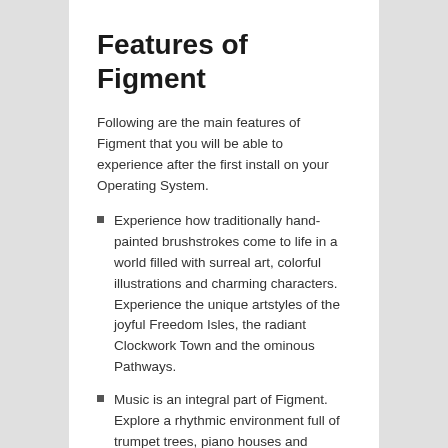Features of Figment
Following are the main features of Figment that you will be able to experience after the first install on your Operating System.
Experience how traditionally hand-painted brushstrokes come to life in a world filled with surreal art, colorful illustrations and charming characters. Experience the unique artstyles of the joyful Freedom Isles, the radiant Clockwork Town and the ominous Pathways.
Music is an integral part of Figment. Explore a rhythmic environment full of trumpet trees, piano houses and singing enemies and discover how your actions influence this musical universe and its dynamic soundtrack.
Take an emotional journey to face universal human fears and help Dusty bring peace to the